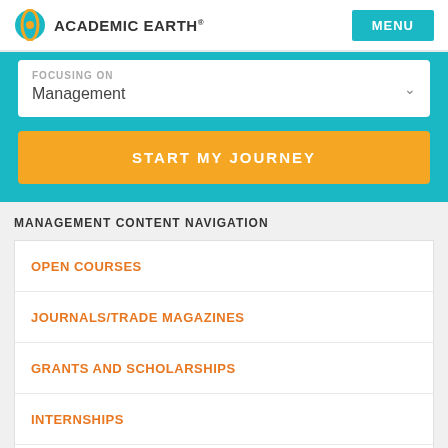ACADEMIC EARTH® MENU
FOCUSING ON Management
START MY JOURNEY
MANAGEMENT CONTENT NAVIGATION
OPEN COURSES
JOURNALS/TRADE MAGAZINES
GRANTS AND SCHOLARSHIPS
INTERNSHIPS
STUDENT & PROFESSIONAL ORGANIZATIONS